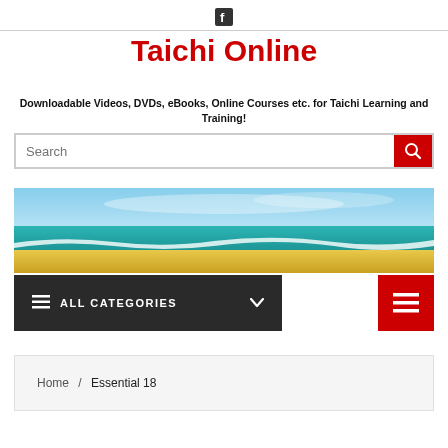Facebook icon (social media link)
Taichi Online
Downloadable Videos, DVDs, eBooks, Online Courses etc. for Taichi Learning and Training!
Search
[Figure (photo): Tropical beach panorama showing blue sky, turquoise ocean water, and sandy beach]
ALL CATEGORIES
Home / Essential 18